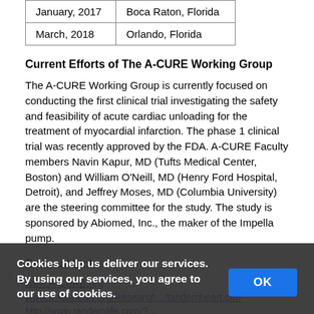| January, 2017 | Boca Raton, Florida |
| March, 2018 | Orlando, Florida |
Current Efforts of The A-CURE Working Group
The A-CURE Working Group is currently focused on conducting the first clinical trial investigating the safety and feasibility of acute cardiac unloading for the treatment of myocardial infarction. The phase 1 clinical trial was recently approved by the FDA. A-CURE Faculty members Navin Kapur, MD (Tufts Medical Center, Boston) and William O'Neill, MD (Henry Ford Hospital, Detroit), and Jeffrey Moses, MD (Columbia University) are the steering committee for the study. The study is sponsored by Abiomed, Inc., the maker of the Impella pump.
External Links
www.A-CURE.org
www.texasheart.org/Research.../tandemheart.cfm
http://www.tandemlife.com/?...